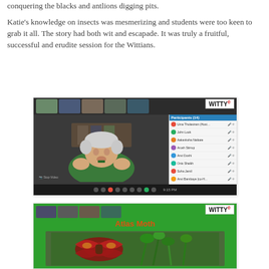conquering the blacks and antlions digging pits.

Katie's knowledge on insects was mesmerizing and students were too keen to grab it all. The story had both wit and escapade. It was truly a fruitful, successful and erudite session for the Wittians.
[Figure (screenshot): Screenshot of a video conference call showing a person with white hair holding something small up close to the camera, with a participants panel on the right showing the WITTY logo and a list of student names.]
[Figure (screenshot): Screenshot of a video conference showing a green background with 'Atlas Moth' title in orange/red, WITTY logo in top right, thumbnails of students at top, and an image of an Atlas Moth below the title.]